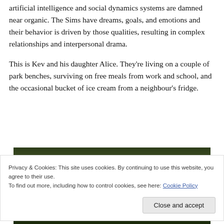artificial intelligence and social dynamics systems are damned near organic. The Sims have dreams, goals, and emotions and their behavior is driven by those qualities, resulting in complex relationships and interpersonal drama.
This is Kev and his daughter Alice. They’re living on a couple of park benches, surviving on free meals from work and school, and the occasional bucket of ice cream from a neighbour’s fridge.
[Figure (photo): Partial screenshot of a game environment showing an outdoor scene with dark green foliage and ground, partially obscured by a cookie consent banner overlay.]
Privacy & Cookies: This site uses cookies. By continuing to use this website, you agree to their use.
To find out more, including how to control cookies, see here: Cookie Policy
Close and accept